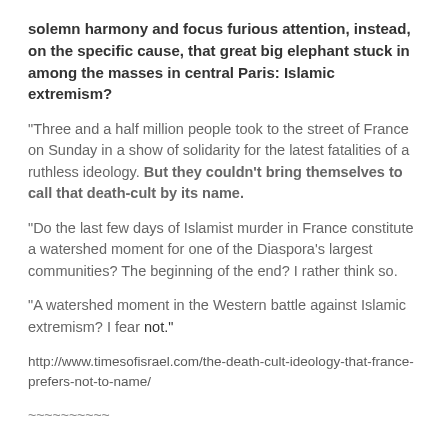solemn harmony and focus furious attention, instead, on the specific cause, that great big elephant stuck in among the masses in central Paris: Islamic extremism?
“Three and a half million people took to the street of France on Sunday in a show of solidarity for the latest fatalities of a ruthless ideology. But they couldn’t bring themselves to call that death-cult by its name.
“Do the last few days of Islamist murder in France constitute a watershed moment for one of the Diaspora’s largest communities? The beginning of the end? I rather think so.
“A watershed moment in the Western battle against Islamic extremism? I fear not.”
http://www.timesofisrael.com/the-death-cult-ideology-that-france-prefers-not-to-name/
~~~~~~~~~~